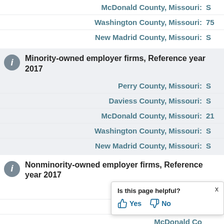McDonald County, Missouri: S
Washington County, Missouri: 75
New Madrid County, Missouri: S
Minority-owned employer firms, Reference year 2017
Perry County, Missouri: S
Daviess County, Missouri: S
McDonald County, Missouri: 21
Washington County, Missouri: S
New Madrid County, Missouri: S
Nonminority-owned employer firms, Reference year 2017
Perry County, Missouri: 423
Daviess County, Missouri:
McDonald County, Missouri: